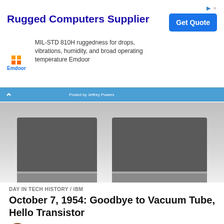[Figure (screenshot): Advertisement banner for Emdoor Rugged Computers Supplier with headline, description text, Emdoor logo, and 'Get Quote' button]
[Figure (photo): Partial photo of large dark server rack or computer towers with wheels and metal base, overlaid with blue navigation bar showing back arrow and 'Posted by Jeffrey Powers' label]
DAY IN TECH HISTORY / IBM
October 7, 1954: Goodbye to Vacuum Tube, Hello Transistor
Jeffrey Powers @geekazine
608, calculator, computer bowl, dragonball, dragonball ez, edgar allen poe, handheld computer, handheld electronics, IBM, jamba, january 19, motorola, motorola